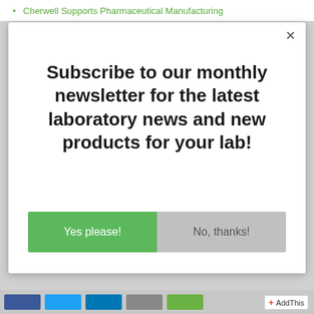Cherwell Supports Pharmaceutical Manufacturing
Subscribe to our monthly newsletter for the latest laboratory news and new products for your lab!
Yes please! | No, thanks!